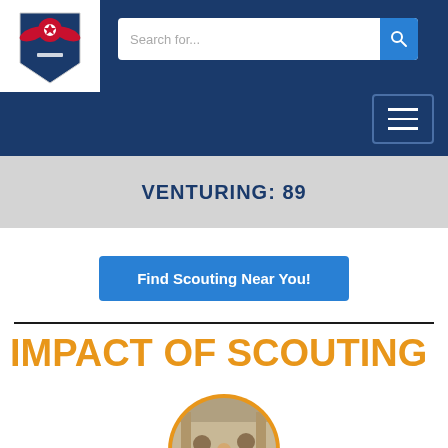[Figure (logo): Boy Scouts of America eagle logo in red, white, and blue on white shield background]
Search for...
VENTURING: 89
Find Scouting Near You!
IMPACT OF SCOUTING
[Figure (photo): Circular photo of scout leaders or scouts working together outdoors, framed with an orange border]